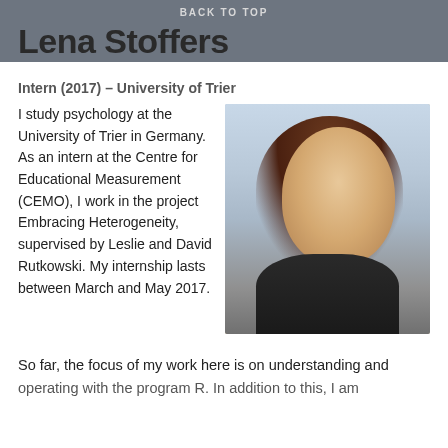BACK TO TOP
Lena Stoffers
Intern (2017) – University of Trier
[Figure (photo): Portrait photo of Lena Stoffers, a young woman with long brown hair, smiling, wearing a dark top, photographed outdoors with a modern building in the background.]
I study psychology at the University of Trier in Germany. As an intern at the Centre for Educational Measurement (CEMO), I work in the project Embracing Heterogeneity, supervised by Leslie and David Rutkowski. My internship lasts between March and May 2017.
So far, the focus of my work here is on understanding and operating with the program R. In addition to this, I am